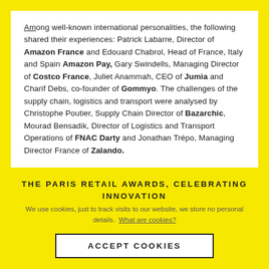Among well-known international personalities, the following shared their experiences: Patrick Labarre, Director of Amazon France and Edouard Chabrol, Head of France, Italy and Spain Amazon Pay, Gary Swindells, Managing Director of Costco France, Juliet Anammah, CEO of Jumia and Charif Debs, co-founder of Gommyo. The challenges of the supply chain, logistics and transport were analysed by Christophe Poutier, Supply Chain Director of Bazarchic, Mourad Bensadik, Director of Logistics and Transport Operations of FNAC Darty and Jonathan Trépo, Managing Director France of Zalando.
THE PARIS RETAIL AWARDS, CELEBRATING INNOVATION
We use cookies, just to track visits to our website, we store no personal details. What are cookies?
ACCEPT COOKIES